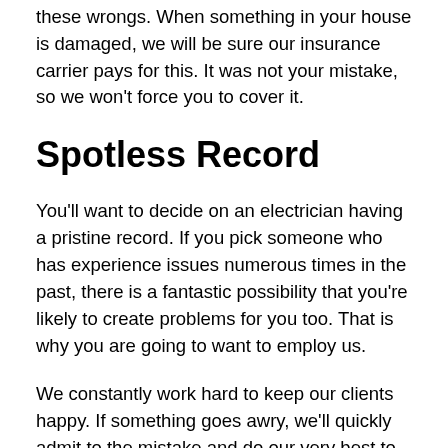these wrongs. When something in your house is damaged, we will be sure our insurance carrier pays for this. It was not your mistake, so we won't force you to cover it.
Spotless Record
You'll want to decide on an electrician having a pristine record. If you pick someone who has experience issues numerous times in the past, there is a fantastic possibility that you're likely to create problems for you too. That is why you are going to want to employ us.
We constantly work hard to keep our clients happy. If something goes awry, we'll quickly admit to the mistake and do our very best to repair it. We are going to do everything possible to meet your expectations. With that being said, we have worked hard over the